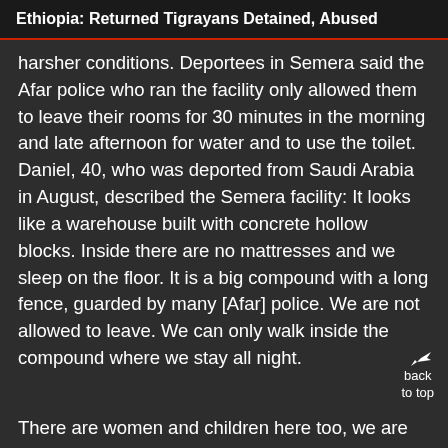Ethiopia: Returned Tigrayans Detained, Abused
harsher conditions. Deportees in Semera said the Afar police who ran the facility only allowed them to leave their rooms for 30 minutes in the morning and late afternoon for water and to use the toilet. Daniel, 40, who was deported from Saudi Arabia in August, described the Semera facility: It looks like a warehouse built with concrete hollow blocks. Inside there are no mattresses and we sleep on the floor. It is a big compound with a long fence, guarded by many [Afar] police. We are not allowed to leave. We can only walk inside the compound where we stay all night.
There are women and children here too, we are